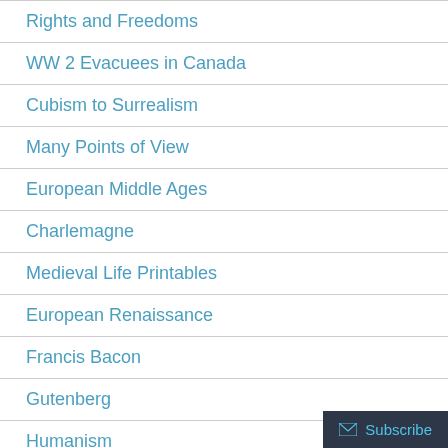Rights and Freedoms
WW 2 Evacuees in Canada
Cubism to Surrealism
Many Points of View
European Middle Ages
Charlemagne
Medieval Life Printables
European Renaissance
Francis Bacon
Gutenberg
Humanism